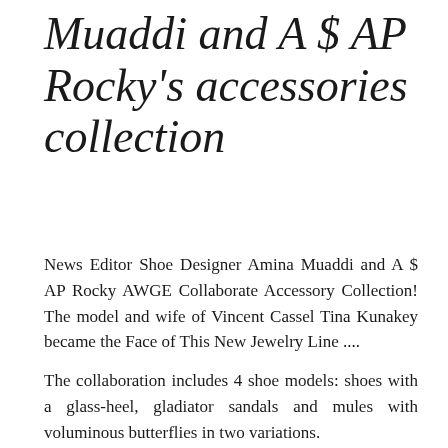Muaddi and A $ AP Rocky's accessories collection
News Editor Shoe Designer Amina Muaddi and A $ AP Rocky AWGE Collaborate Accessory Collection! The model and wife of Vincent Cassel Tina Kunakey became the Face of This New Jewelry Line ....
The collaboration includes 4 shoe models: shoes with a glass-heel, gladiator sandals and mules with voluminous butterflies in two variations.